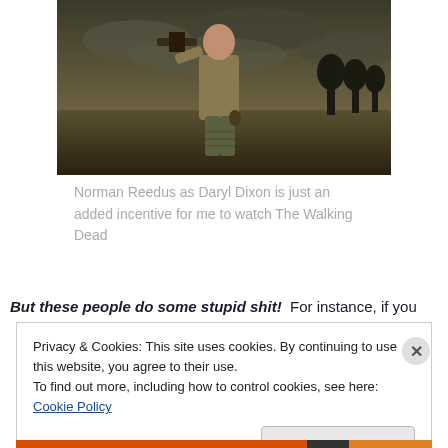[Figure (photo): A man (Norman Reedus as Daryl Dixon) in a sleeveless shirt holding a crossbow, standing in a field with dramatic cloudy sky and trees in background — promotional image from The Walking Dead]
Norman Reedus as Daryl Dixon is just an added incentive for me to watch The Walking Dead
But these people do some stupid shit!  For instance, if you
Privacy & Cookies: This site uses cookies. By continuing to use this website, you agree to their use.
To find out more, including how to control cookies, see here: Cookie Policy
Close and accept